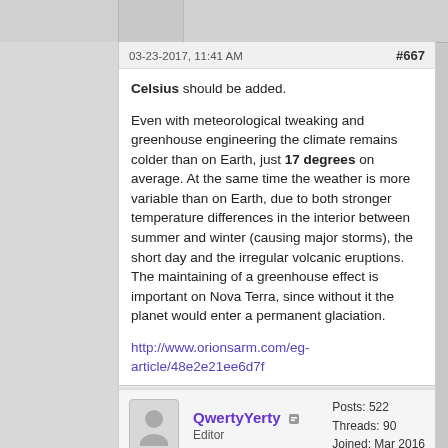03-23-2017, 11:41 AM  #667
Celsius should be added.

Even with meteorological tweaking and greenhouse engineering the climate remains colder than on Earth, just 17 degrees on average. At the same time the weather is more variable than on Earth, due to both stronger temperature differences in the interior between summer and winter (causing major storms), the short day and the irregular volcanic eruptions. The maintaining of a greenhouse effect is important on Nova Terra, since without it the planet would enter a permanent glaciation.
http://www.orionsarm.com/eg-article/48e2e21ee6d7f
QwertyYerty  Editor  Posts: 522  Threads: 90  Joined: Mar 2016